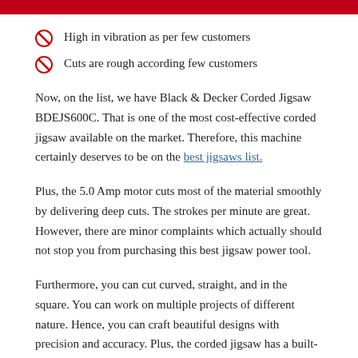High in vibration as per few customers
Cuts are rough according few customers
Now, on the list, we have Black & Decker Corded Jigsaw BDEJS600C. That is one of the most cost-effective corded jigsaw available on the market. Therefore, this machine certainly deserves to be on the best jigsaws list.
Plus, the 5.0 Amp motor cuts most of the material smoothly by delivering deep cuts. The strokes per minute are great. However, there are minor complaints which actually should not stop you from purchasing this best jigsaw power tool.
Furthermore, you can cut curved, straight, and in the square. You can work on multiple projects of different nature. Hence, you can craft beautiful designs with precision and accuracy. Plus, the corded jigsaw has a built-in cooling system that enables you to